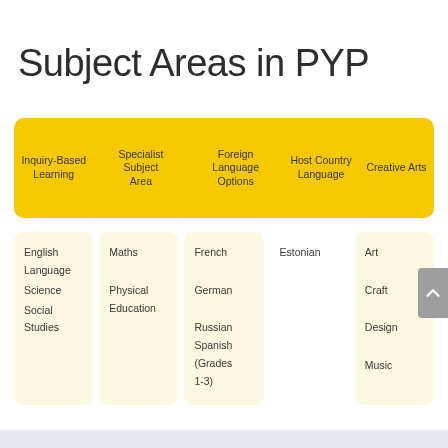Subject Areas in PYP
[Figure (infographic): Yellow bar showing five column headers: Inquiry-Based Learning, Specialist Subject Area, Foreign Language Options, Host Country Language, Creative Arts]
English Language
Science
Social Studies
Maths
Physical Education
French
German
Russian
Spanish (Grades 1-3)
Estonian
Art
Craft
Design
Music